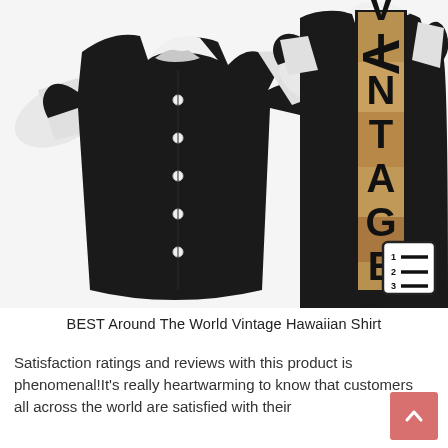[Figure (photo): Product photo showing front and back of a black and white short-sleeve button-up Hawaiian shirt. The front view is on the left showing a plain black body with white sleeves and collar. The back view is on the right showing the word 'VINTAGE' printed vertically with world landmark imagery inside the letters. A numbered list icon is visible in the lower right corner of the image area.]
BEST Around The World Vintage Hawaiian Shirt
Satisfaction ratings and reviews with this product is phenomenal!It's really heartwarming to know that customers all across the world are satisfied with their